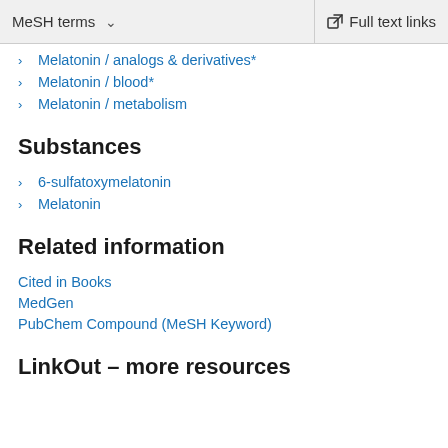MeSH terms  ∨    Full text links
Melatonin / analogs & derivatives*
Melatonin / blood*
Melatonin / metabolism
Substances
6-sulfatoxymelatonin
Melatonin
Related information
Cited in Books
MedGen
PubChem Compound (MeSH Keyword)
LinkOut – more resources